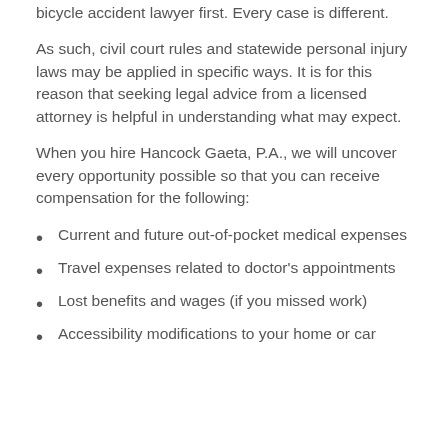bicycle accident lawyer first. Every case is different.
As such, civil court rules and statewide personal injury laws may be applied in specific ways. It is for this reason that seeking legal advice from a licensed attorney is helpful in understanding what may expect.
When you hire Hancock Gaeta, P.A., we will uncover every opportunity possible so that you can receive compensation for the following:
Current and future out-of-pocket medical expenses
Travel expenses related to doctor's appointments
Lost benefits and wages (if you missed work)
Accessibility modifications to your home or car